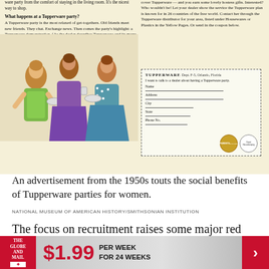[Figure (illustration): Vintage 1950s Tupperware advertisement showing two-column layout with illustration of three women at a Tupperware party, coupon cutout, and product images]
An advertisement from the 1950s touts the social benefits of Tupperware parties for women.
NATIONAL MUSEUM OF AMERICAN HISTORY/SMITHSONIAN INSTITUTION
The focus on recruitment raises some major red flags, and has led campaigners to argue some
[Figure (logo): The Globe and Mail advertisement banner offering $1.99 per week for 24 weeks]